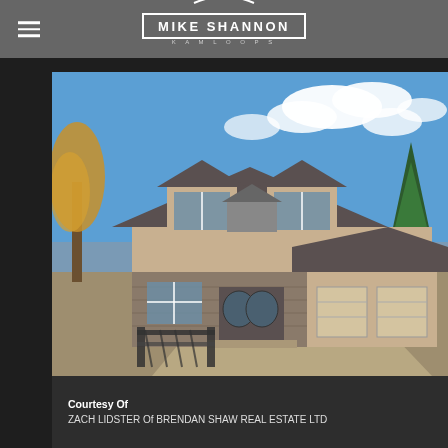MIKE SHANNON KAMLOOPS
[Figure (photo): Exterior photo of a large two-storey residential home with stone and stucco facade, dark grey hip roof with dormers, large front entrance with double doors, two-car garage on the right, gravel driveway, autumn trees on left, blue sky with clouds.]
Courtesy Of
ZACH LIDSTER Of BRENDAN SHAW REAL ESTATE LTD